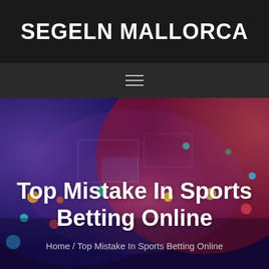SEGELN MALLORCA
[Figure (screenshot): Navigation bar with hamburger menu icon (three horizontal lines) on dark background]
[Figure (photo): Colorful abstract background image with blurred bokeh lights in blue, purple, red, yellow colors over what appears to be circuit board or map imagery]
Top Mistake In Sports Betting Online
Home / Top Mistake In Sports Betting Online